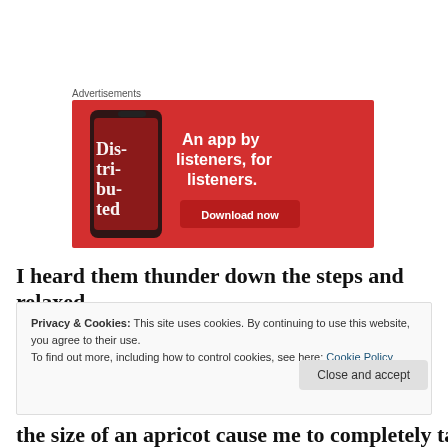Advertisements
[Figure (photo): Red advertisement banner for a podcast app showing a smartphone with a podcast app displaying 'Dis-tri-bu-ted' text. Ad reads: 'An app by listeners, for listeners.' with a 'Download now' button.]
I heard them thunder down the steps and relaxed
Privacy & Cookies: This site uses cookies. By continuing to use this website, you agree to their use.
To find out more, including how to control cookies, see here: Cookie Policy
Close and accept
the size of an apricot cause me to completely take leave of